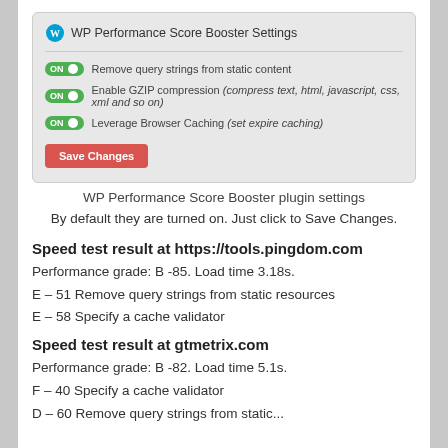[Figure (screenshot): WP Performance Score Booster Settings plugin interface showing three toggle switches (all ON) for: Remove query strings from static content, Enable GZIP compression (compress text, html, javascript, css, xml and so on), Leverage Browser Caching (set expire caching), and a red Save Changes button.]
WP Performance Score Booster plugin settings
By default they are turned on. Just click to Save Changes.
Speed test result at https://tools.pingdom.com
Performance grade: B -85. Load time 3.18s.
E – 51 Remove query strings from static resources
E – 58 Specify a cache validator
Speed test result at gtmetrix.com
Performance grade: B -82. Load time 5.1s.
F – 40 Specify a cache validator
D – 60 Remove query strings from static...